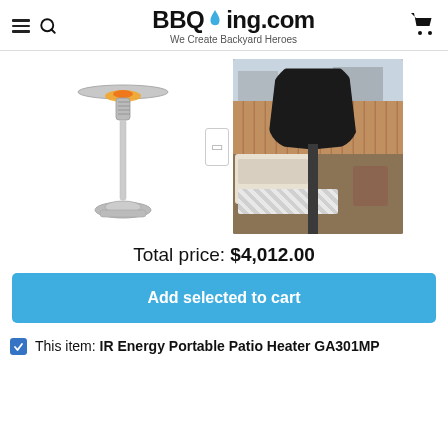BBQing.com — We Create Backyard Heroes
[Figure (photo): Product image of a stainless steel patio heater on stand and a black cover/bag on a patio setting]
Total price: $4,012.00
Add selected to cart
This item: IR Energy Portable Patio Heater GA301MP